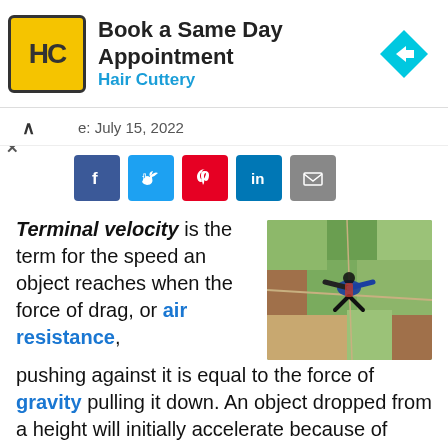[Figure (infographic): Hair Cuttery advertisement banner: logo with 'HC' in yellow circle, text 'Book a Same Day Appointment' and 'Hair Cuttery' in blue, cyan diamond arrow icon on right]
e: July 15, 2022
[Figure (infographic): Social sharing buttons row: Facebook (blue), Twitter (cyan), Pinterest (red), LinkedIn (dark blue), Email (grey)]
Terminal velocity is the term for the speed an object reaches when the force of drag, or air resistance, pushing against it is equal to the force of gravity pulling it down. An object dropped from a height will initially accelerate because of gravity. The atmosphere, however, exerts an opposing force, or drag
[Figure (photo): Aerial view of a skydiver in blue suit and black outfit spread-eagle against green and brown fields below]